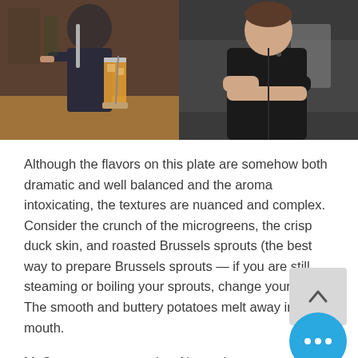[Figure (photo): Two side-by-side photos: left shows a female bartender pouring a drink at a bar with an orange cocktail in a tall glass; right shows a male chef in black jacket standing with arms crossed in a kitchen.]
Although the flavors on this plate are somehow both dramatic and well balanced and the aroma intoxicating, the textures are nuanced and complex. Consider the crunch of the microgreens, the crisp duck skin, and roasted Brussels sprouts (the best way to prepare Brussels sprouts — if you are still steaming or boiling your sprouts, change your ways). The smooth and buttery potatoes melt away in the mouth.
McGrogan recommends a Negroni